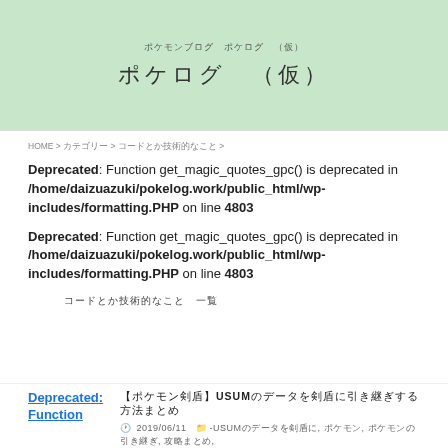ポケモンブログ　ポケログ　（仮）
ポケログ　（仮）
HOME > カテゴリー > コードとか技術的なこと >
Deprecated: Function get_magic_quotes_gpc() is deprecated in /home/daizuazuki/pokelog.work/public_html/wp-includes/formatting.PHP on line 4803
Deprecated: Function get_magic_quotes_gpc() is deprecated in /home/daizuazuki/pokelog.work/public_html/wp-includes/formatting.PHP on line 4803
コードとか技術的なこと　一覧
【ポケモン剣盾】USUMのデータを剣盾に引き継ぎする方法まとめ
2019/06/11  -USUMのデータを剣盾に, ポケモン, ポケモンの引き継ぎ, 攻略まとめ,
Deprecated: Function